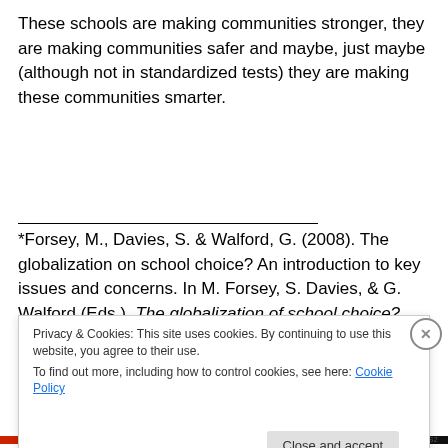These schools are making communities stronger, they are making communities safer and maybe, just maybe (although not in standardized tests) they are making these communities smarter.
*Forsey, M., Davies, S. & Walford, G. (2008). The globalization on school choice? An introduction to key issues and concerns. In M. Forsey, S. Davies, & G. Walford (Eds.), The globalization of school choice? (pp. 9-26). Oxford: Symposium Books.
Privacy & Cookies: This site uses cookies. By continuing to use this website, you agree to their use. To find out more, including how to control cookies, see here: Cookie Policy
DUPNOTES2